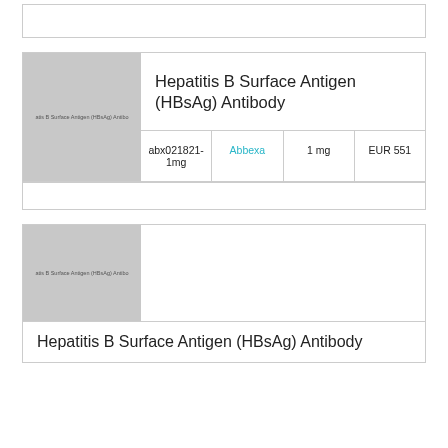[Figure (other): Partial product card top stub visible at top of page]
[Figure (photo): Hepatitis B Surface Antigen (HBsAg) Antibody product image placeholder (grey box)]
Hepatitis B Surface Antigen (HBsAg) Antibody
| abx021821-1mg | Abbexa | 1 mg | EUR 551 |
| --- | --- | --- | --- |
[Figure (photo): Second product card - Hepatitis B Surface Antigen (HBsAg) Antibody image placeholder (grey box)]
Hepatitis B Surface Antigen (HBsAg) Antibody